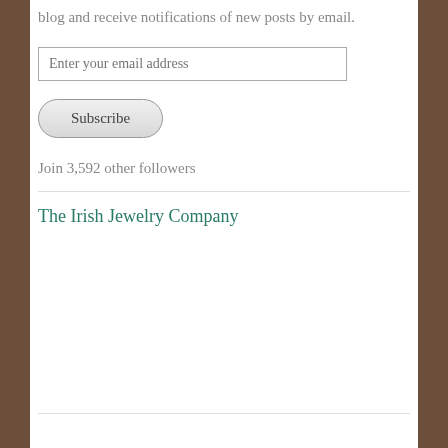blog and receive notifications of new posts by email.
[Figure (other): Email address input field with placeholder text 'Enter your email address']
[Figure (other): Subscribe button with rounded pill shape]
Join 3,592 other followers
The Irish Jewelry Company